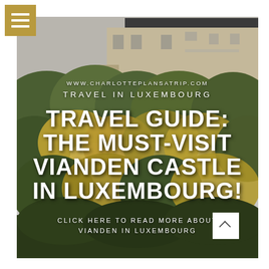[Figure (photo): Photograph of Vianden Castle in Luxembourg, perched above dense green and yellow-green forest/trees, with stone castle walls and rooftops visible in the upper portion. The image serves as a full background for the page card.]
WWW.CHARLOTTEPLANSATRIP.COM
TRAVEL IN LUXEMBOURG
TRAVEL GUIDE: THE MUST-VISIT VIANDEN CASTLE IN LUXEMBOURG!
CLICK HERE TO READ MORE ABOUT VIANDEN IN LUXEMBOURG